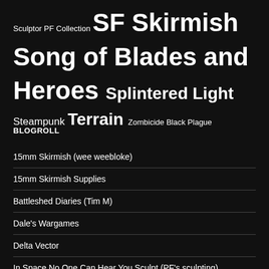Sculptor PF Collection SF Skirmish Song of Blades and Heroes Splintered Light Steampunk Terrain Zombicide Black Plague
BLOGROLL
15mm Skirmish (wee weebloke)
15mm Skirmish Supplies
Battleshed Diaries (Tim M)
Dale's Wargames
Delta Vector
In Space No One Can Hear You Sculpt (PF's sculpting)
Javier at War
Jim Duncan Wargamer